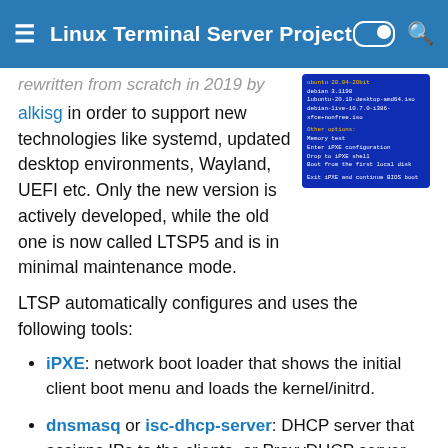Linux Terminal Server Project
rewritten from scratch in 2019 by alkisg in order to support new technologies like systemd, updated desktop environments, Wayland, UEFI etc. Only the new version is actively developed, while the old one is now called LTSP5 and is in minimal maintenance mode.
[Figure (screenshot): Screenshot of a blue boot menu showing kernel and OS options including Ubuntu and Debian Live entries, with sections for Other options like Memory test, Enter iPXE configuration, Drop to iPXE shell, Boot from the first local disk, Exit iPXE and continue BIOS boot]
LTSP automatically configures and uses the following tools:
iPXE: network boot loader that shows the initial client boot menu and loads the kernel/initrd.
dnsmasq or isc-dhcp-server: DHCP server that assigns IPs to the clients, or ProxyDHCP server when another DHCP server is used, e.g. a router.